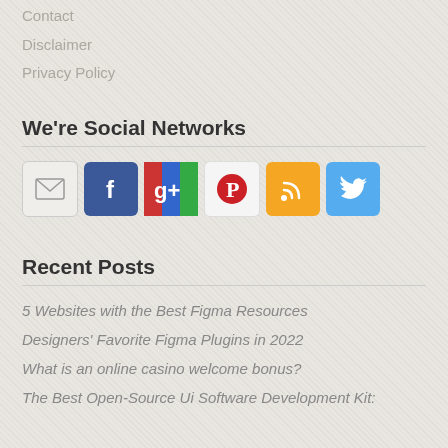Contact
Disclaimer
Privacy Policy
We're Social Networks
[Figure (infographic): Row of 6 social network icon buttons: Email (envelope), Facebook (f logo), Google+ (g+ logo), Pinterest (P logo), RSS feed, Twitter (bird logo)]
Recent Posts
5 Websites with the Best Figma Resources
Designers' Favorite Figma Plugins in 2022
What is an online casino welcome bonus?
The Best Open-Source Ui Software Development Kit: